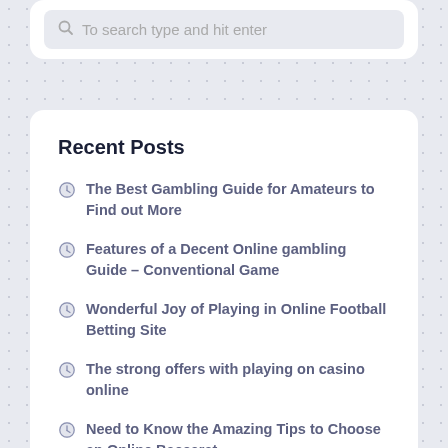To search type and hit enter
Recent Posts
The Best Gambling Guide for Amateurs to Find out More
Features of a Decent Online gambling Guide – Conventional Game
Wonderful Joy of Playing in Online Football Betting Site
The strong offers with playing on casino online
Need to Know the Amazing Tips to Choose an Online Baccarat